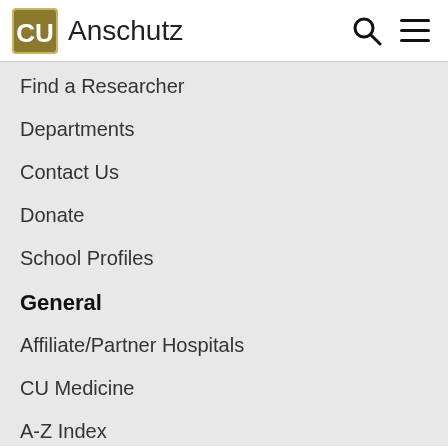CU Anschutz
Find a Researcher
Departments
Contact Us
Donate
School Profiles
General
Affiliate/Partner Hospitals
CU Medicine
A-Z Index
Directory
Map and Parking
Webmail
Students